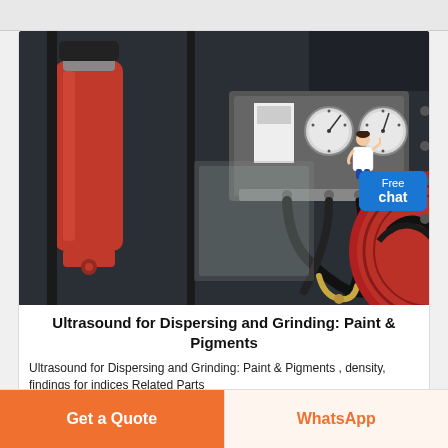[Figure (photo): Industrial ultrasonic dispersing and grinding machine photo showing a red cylindrical component (ultrasonic reactor), pressure gauges, black hoses, brass fittings, and a red rotating drum, set against a dark gray machine body.]
Ultrasound for Dispersing and Grinding: Paint & Pigments
Ultrasound for Dispersing and Grinding: Paint & Pigments , density, findings for indices Related Parts
Get a Quote
WhatsApp